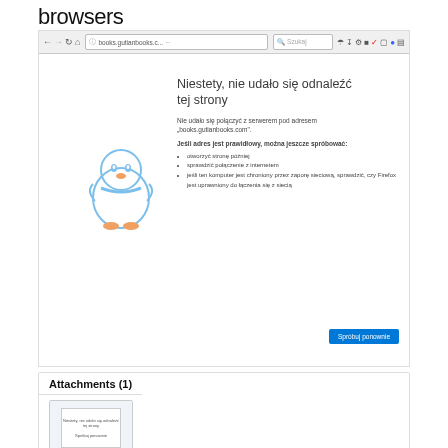browsers
[Figure (screenshot): Firefox browser showing a 404/connection error page with Polish text 'Niestety, nie udało się odnaleźć tej strony' and a sad penguin illustration. Browser toolbar visible at top.]
Attachments (1)
[Figure (screenshot): Thumbnail image of the Firefox error page screenshot, labeled '0-0.png']